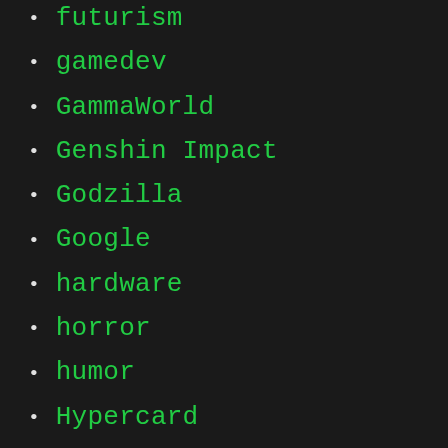futurism
gamedev
GammaWorld
Genshin Impact
Godzilla
Google
hardware
horror
humor
Hypercard
indiedev
iot
irc
Japan
Java
Javascript
Julia